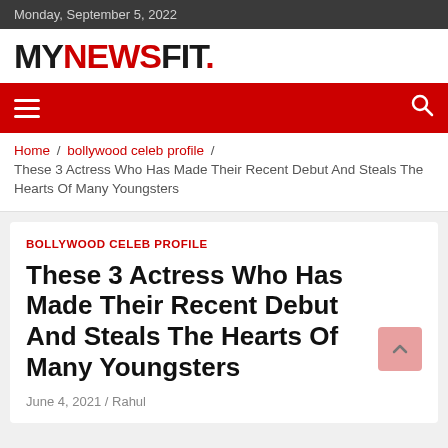Monday, September 5, 2022
MYNEWSFIT.
≡  🔍
Home / bollywood celeb profile / These 3 Actress Who Has Made Their Recent Debut And Steals The Hearts Of Many Youngsters
BOLLYWOOD CELEB PROFILE
These 3 Actress Who Has Made Their Recent Debut And Steals The Hearts Of Many Youngsters
June 4, 2021 / Rahul